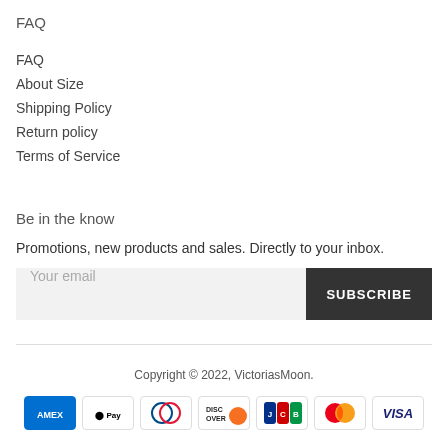FAQ
FAQ
About Size
Shipping Policy
Return policy
Terms of Service
Be in the know
Promotions, new products and sales. Directly to your inbox.
Your email | SUBSCRIBE
Copyright © 2022, VictoriasMoon.
[Figure (other): Payment method icons: American Express, Apple Pay, Diners Club, Discover, JCB, Mastercard, Visa]